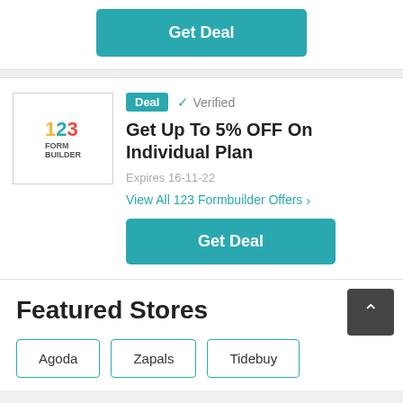[Figure (other): Get Deal button (teal/green color) at top of page]
[Figure (logo): 123 Form Builder logo in a bordered box]
Deal  ✓ Verified
Get Up To 5% OFF On Individual Plan
Expires 16-11-22
View All 123 Formbuilder Offers >
[Figure (other): Get Deal button (teal/green color)]
Featured Stores
Agoda
Zapals
Tidebuy